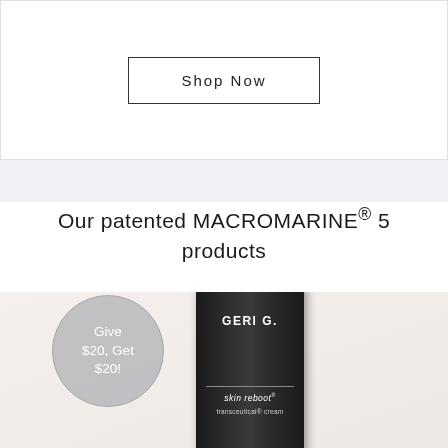Shop Now
Our patented MACROMARINE® 5 products
[Figure (photo): Dark cylindrical tube product labeled GERI G. skin reboot transceutical cream, positioned on a light beige background, with a gray circular badge overlay reading 'Give $20, Get $20!']